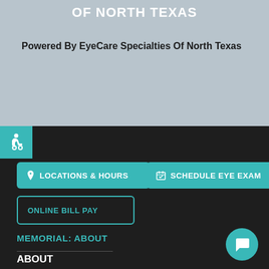OF NORTH TEXAS
Powered By EyeCare Specialties Of North Texas
[Figure (other): Accessibility wheelchair icon in teal square]
LOCATIONS & HOURS
SCHEDULE EYE EXAM
ONLINE BILL PAY
MEMORIAL: ABOUT
ABOUT